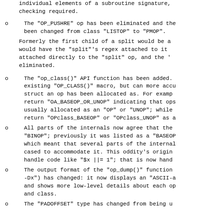individual elements of a subroutine signature, checking required.
The "OP_PUSHRE" op has been eliminated and the been changed from class "LISTOP" to "PMOP".
Formerly the first child of a split would be a would have the "split"'s regex attached to it attached directly to the "split" op, and the eliminated.
The "op_class()" API function has been added. existing "OP_CLASS()" macro, but can more accu struct an op has been allocated as. For examp return "OA_BASEOP_OR_UNOP" indicating that ops usually allocated as an "OP" or "UNOP"; while return "OPclass_BASEOP" or "OPclass_UNOP" as a
All parts of the internals now agree that the "BINOP"; previously it was listed as a "BASEOP which meant that several parts of the internal cased to accommodate it. This oddity's origin handle code like "$x ||= 1"; that is now hand
The output format of the "op_dump()" function -Dx") has changed: it now displays an "ASCII-a and shows more low-level details about each op and class.
The "PADOFFSET" type has changed from being u